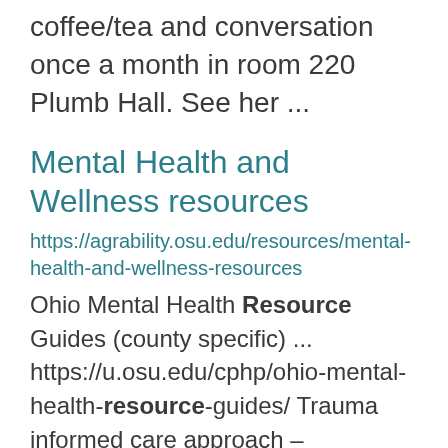coffee/tea and conversation once a month in room 220 Plumb Hall. See her ...
Mental Health and Wellness resources
https://agrability.osu.edu/resources/mental-health-and-wellness-resources
Ohio Mental Health Resource Guides (county specific) ... https://u.osu.edu/cphp/ohio-mental-health-resource-guides/ Trauma informed care approach – resources and workshops ... https://fcs.osu.edu/programs/healthy-relationships-0/trauma-informed-care-